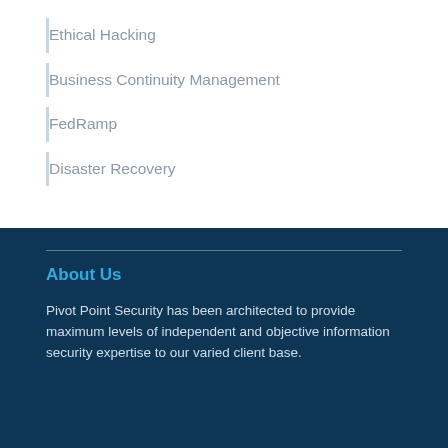Ethical Hacking
Business Continuity Management
FedRamp
Disaster Recovery
About Us
Pivot Point Security has been architected to provide maximum levels of independent and objective information security expertise to our varied client base.